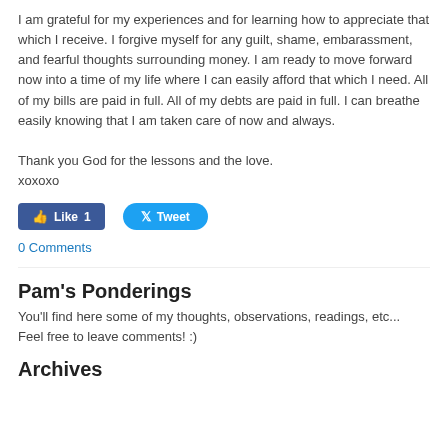I am grateful for my experiences and for learning how to appreciate that which I receive. I forgive myself for any guilt, shame, embarassment, and fearful thoughts surrounding money. I am ready to move forward now into a time of my life where I can easily afford that which I need. All of my bills are paid in full. All of my debts are paid in full. I can breathe easily knowing that I am taken care of now and always.

Thank you God for the lessons and the love.
xoxoxo
[Figure (screenshot): Facebook Like button showing count of 1 and Twitter Tweet button]
0 Comments
Pam's Ponderings
You'll find here some of my thoughts, observations, readings, etc... Feel free to leave comments! :)
Archives